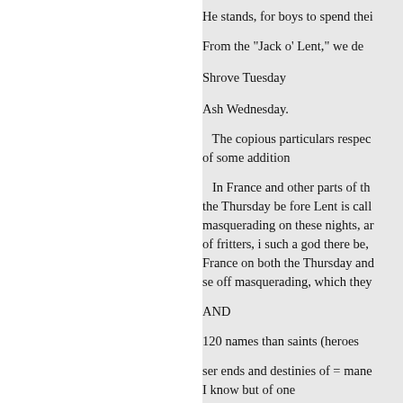He stands, for boys to spend thei
From the "Jack o' Lent," we de
Shrove Tuesday
Ash Wednesday.
The copious particulars respec of some addition
In France and other parts of th the Thursday be fore Lent is call masquerading on these nights, ar of fritters, i such a god there be, France on both the Thursday and se off masquerading, which they
AND
120 names than saints (heroes
ser ends and destinies of = mane I know but of one
Xen poisoned.
FELEL
Sed at you till he got to face ye
KELPH